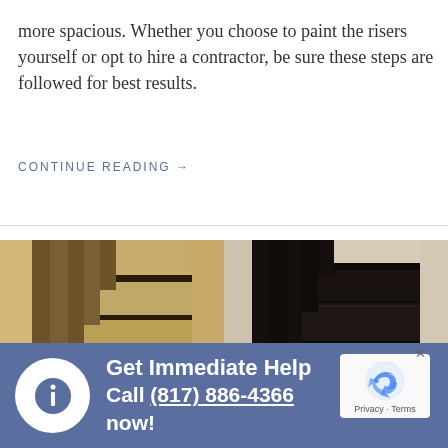more spacious. Whether you choose to paint the risers yourself or opt to hire a contractor, be sure these steps are followed for best results.
CONTINUE READING →
[Figure (photo): Before and after comparison of staircase: left side shows worn, unfinished wooden stairs; right side shows the same stairs painted dark/black.]
Get Immediate Help
Call (817) 886-4366 now!